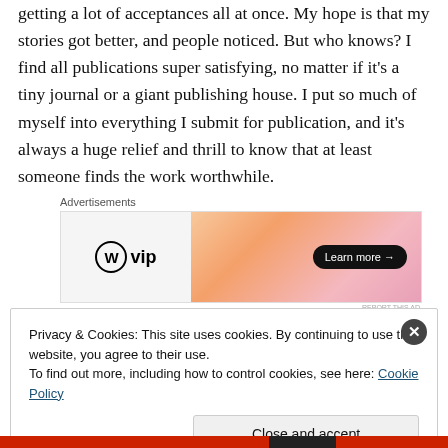getting a lot of acceptances all at once. My hope is that my stories got better, and people noticed. But who knows? I find all publications super satisfying, no matter if it's a tiny journal or a giant publishing house. I put so much of myself into everything I submit for publication, and it's always a huge relief and thrill to know that at least someone finds the work worthwhile.
[Figure (other): WordPress VIP advertisement banner with orange-pink gradient background and 'Learn more' button]
Privacy & Cookies: This site uses cookies. By continuing to use this website, you agree to their use. To find out more, including how to control cookies, see here: Cookie Policy
Close and accept